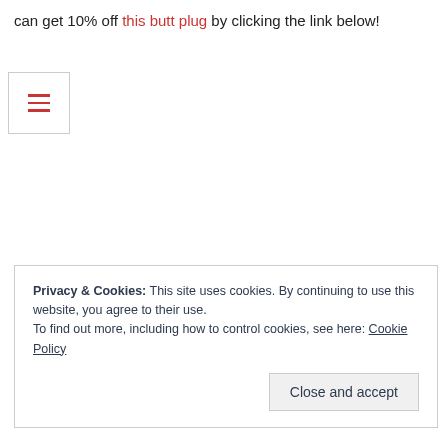can get 10% off this butt plug by clicking the link below!
[Figure (screenshot): Hamburger menu icon with three horizontal red lines inside a bordered box]
Privacy & Cookies: This site uses cookies. By continuing to use this website, you agree to their use.
To find out more, including how to control cookies, see here: Cookie Policy
Close and accept